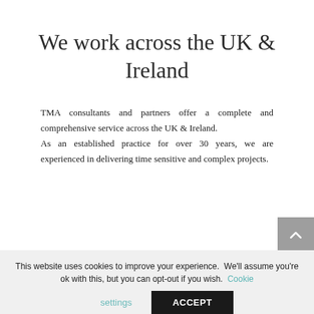We work across the UK & Ireland
TMA consultants and partners offer a complete and comprehensive service across the UK & Ireland. As an established practice for over 30 years, we are experienced in delivering time sensitive and complex projects.
[Figure (illustration): Partial logo or decorative graphic visible at bottom of page]
This website uses cookies to improve your experience. We'll assume you're ok with this, but you can opt-out if you wish. Cookie settings ACCEPT